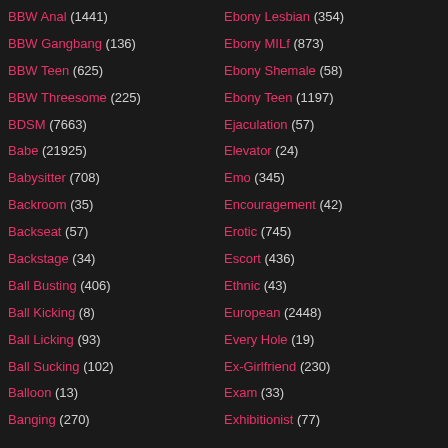BBW Anal (1441)
BBW Gangbang (136)
BBW Teen (625)
BBW Threesome (225)
BDSM (7663)
Babe (21925)
Babysitter (708)
Backroom (35)
Backseat (57)
Backstage (34)
Ball Busting (406)
Ball Kicking (8)
Ball Licking (93)
Ball Sucking (102)
Balloon (13)
Banging (270)
Ebony Lesbian (354)
Ebony MILf (873)
Ebony Shemale (58)
Ebony Teen (1197)
Ejaculation (57)
Elevator (24)
Emo (345)
Encouragement (42)
Erotic (745)
Escort (436)
Ethnic (43)
European (2448)
Every Hole (19)
Ex-Girlfriend (230)
Exam (33)
Exhibitionist (77)